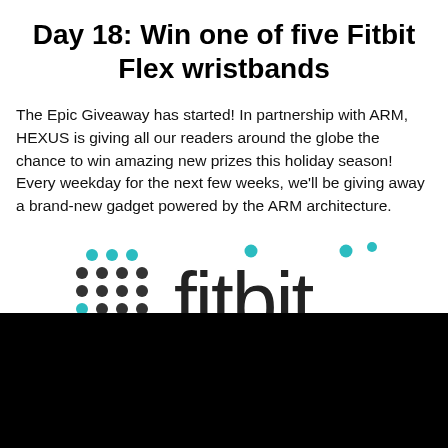Day 18: Win one of five Fitbit Flex wristbands
The Epic Giveaway has started! In partnership with ARM, HEXUS is giving all our readers around the globe the chance to win amazing new prizes this holiday season! Every weekday for the next few weeks, we'll be giving away a brand-new gadget powered by the ARM architecture.
[Figure (logo): Fitbit logo with dot-grid icon on the left and 'fitbit' text in dark color on the right, with teal accent dots]
[Figure (photo): Black rectangular area at the bottom of the page]